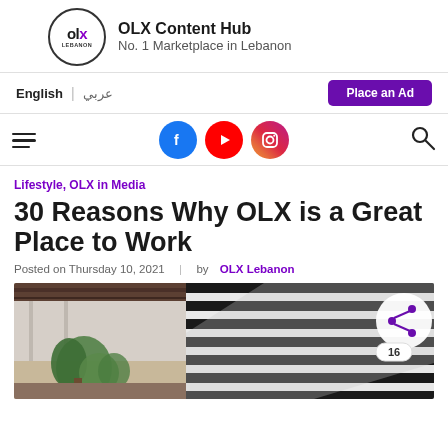OLX Content Hub — No. 1 Marketplace in Lebanon
English | عربي | Place an Ad
[Figure (screenshot): Social media icons: Facebook, YouTube, Instagram with hamburger menu and search icon]
Lifestyle, OLX in Media
30 Reasons Why OLX is a Great Place to Work
Posted on Thursday 10, 2021 | by OLX Lebanon
[Figure (photo): Featured image showing an office or outdoor workspace with plants and striped architectural elements. Share button with count 16 overlaid.]